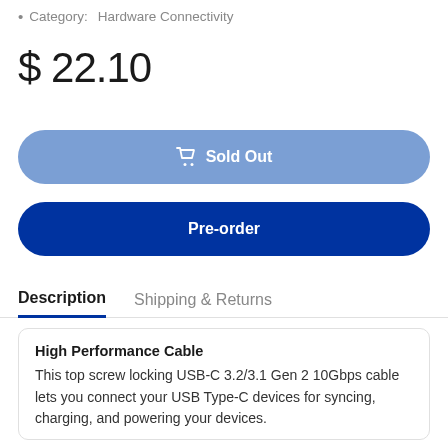Category:  Hardware Connectivity
$ 22.10
Sold Out
Pre-order
Description    Shipping & Returns
High Performance Cable
This top screw locking USB-C 3.2/3.1 Gen 2 10Gbps cable lets you connect your USB Type-C devices for syncing, charging, and powering your devices.